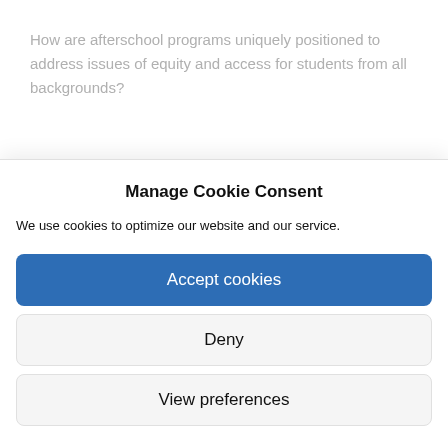How are afterschool programs uniquely positioned to address issues of equity and access for students from all backgrounds?
Oakley Dickson:
Manage Cookie Consent
We use cookies to optimize our website and our service.
Accept cookies
Deny
View preferences